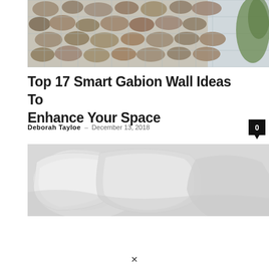[Figure (photo): A gabion wall filled with rocks and stones held by a wire mesh cage, with green plants visible on the right side.]
Top 17 Smart Gabion Wall Ideas To Enhance Your Space
Deborah Tayloe - December 13, 2018
[Figure (photo): A black and white photograph of white pillows and bedding on a bed.]